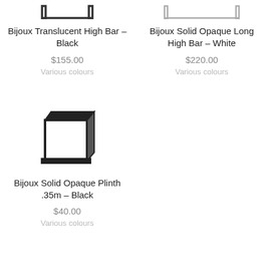[Figure (illustration): Partial product image of Bijoux Translucent High Bar – Black, cropped at top]
Bijoux Translucent High Bar – Black
$155.00
Various colours
[Figure (illustration): Partial product image of Bijoux Solid Opaque Long High Bar – White, cropped at top]
Bijoux Solid Opaque Long High Bar – White
$220.00
Various colours
[Figure (illustration): Product image of Bijoux Solid Opaque Plinth .35m – Black, a small black cube/box shape]
Bijoux Solid Opaque Plinth .35m – Black
$40.00
Various colours